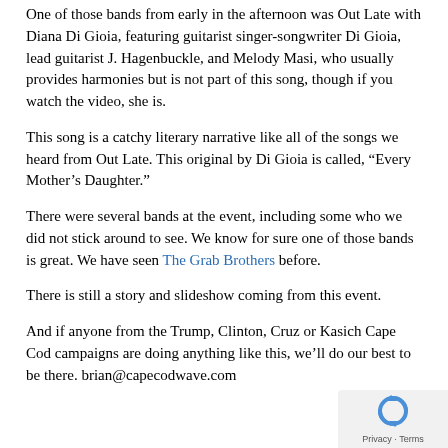One of those bands from early in the afternoon was Out Late with Diana Di Gioia, featuring guitarist singer-songwriter Di Gioia, lead guitarist J. Hagenbuckle, and Melody Masi, who usually provides harmonies but is not part of this song, though if you watch the video, she is.
This song is a catchy literary narrative like all of the songs we heard from Out Late. This original by Di Gioia is called, “Every Mother’s Daughter.”
There were several bands at the event, including some who we did not stick around to see. We know for sure one of those bands is great. We have seen The Grab Brothers before.
There is still a story and slideshow coming from this event.
And if anyone from the Trump, Clinton, Cruz or Kasich Cape Cod campaigns are doing anything like this, we’ll do our best to be there. brian@capecodwave.com